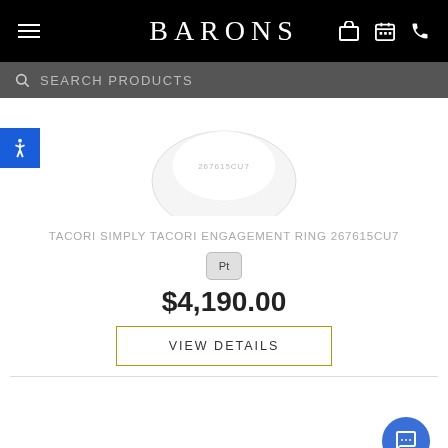BARONS
[Figure (screenshot): Partially visible product image of a Tacori engagement ring on white background]
TACORI SIMPLY TACORI ENGAGEMENT RING 267615CU7
[Figure (other): Platinum (Pt) material badge — small rounded rectangle button]
$4,190.00
VIEW DETAILS